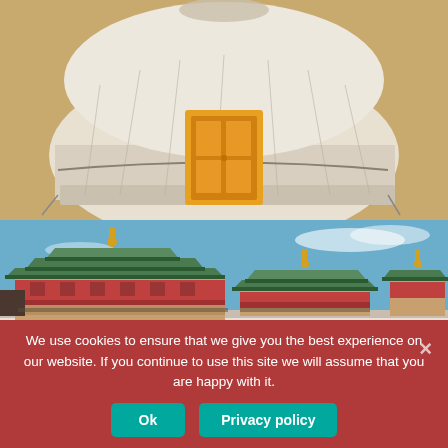[Figure (photo): Mongolian yurt (ger) with orange/yellow door, white felt covering, on sandy desert ground]
[Figure (photo): Mongolian Buddhist monastery temple buildings with green tiled roofs against a blue sky, white walls with decorative friezes]
We use cookies to ensure that we give you the best experience on our website. If you continue to use this site we will assume that you are happy with it.
Ok
Privacy policy